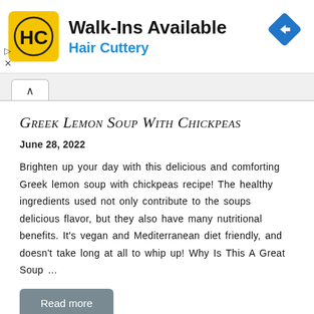[Figure (logo): Hair Cuttery advertisement banner with HC logo, 'Walk-Ins Available' heading, 'Hair Cuttery' subheading in blue, and a blue diamond directional arrow icon on the right.]
Greek Lemon Soup With Chickpeas
June 28, 2022
Brighten up your day with this delicious and comforting Greek lemon soup with chickpeas recipe! The healthy ingredients used not only contribute to the soups delicious flavor, but they also have many nutritional benefits. It's vegan and Mediterranean diet friendly, and doesn't take long at all to whip up! Why Is This A Great Soup …
Read more